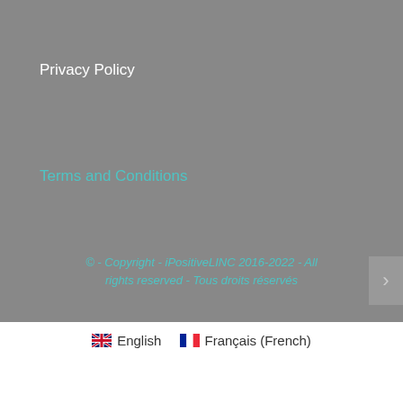Privacy Policy
Terms and Conditions
© - Copyright - iPositiveLINC 2016-2022 - All rights reserved - Tous droits réservés
English   Français (French)